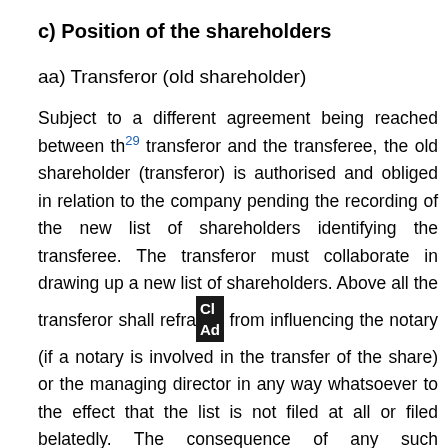c) Position of the shareholders
aa) Transferor (old shareholder)
Subject to a different agreement being reached between the[29] transferor and the transferee, the old shareholder (transferor) is authorised and obliged in relation to the company pending the recording of the new list of shareholders identifying the transferee. The transferor must collaborate in drawing up a new list of shareholders. Above all the transferor shall refrain [Close Ad] from influencing the notary (if a notary is involved in the transfer of the share) or the managing director in any way whatsoever to the effect that the list is not filed at all or filed belatedly. The consequence of any such collaboration between the old shareholder and the notary/managing director is that the old list of shareholders is ineffective or that the old shareholder cannot rely on this list.